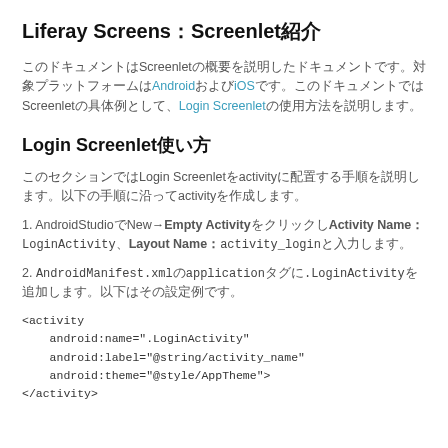Liferay Screens：Screenlet紹介
このドキュメントはScreenletの概要を説明したドキュメントです。対象プラットフォームはAndroidおよびiOSです。このドキュメントではScreenletの具体例として、Login Screenletの使用方法を説明します。
Login Screenlet使い方
このセクションではLogin Screenletをactivityに配置する手順を説明します。以下の手順に沿ってactivityを作成します。
1. AndroidStudioでNew→Empty ActivityをクリックしActivity Name：LoginActivity、Layout Name：activity_loginと入力します。
2. AndroidManifest.xmlのapplicationタグに.LoginActivityを追加します。以下はその設定例です。
<activity
    android:name=".LoginActivity"
    android:label="@string/activity_name"
    android:theme="@style/AppTheme">
</activity>